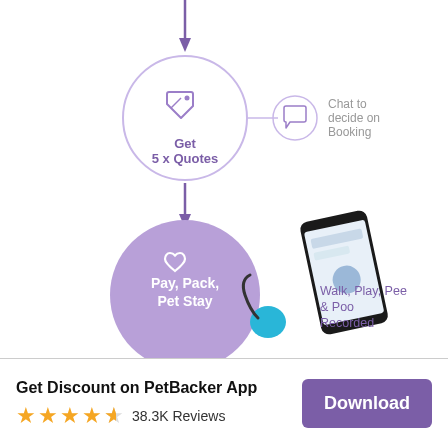[Figure (flowchart): Flowchart step showing 'Get 5 x Quotes' in a large circle with a price-tag icon, connected by a line to a smaller circle with a chat bubble icon, and text 'Chat to decide on Booking'. A purple downward arrow above the step and another below. Below the second arrow is a large filled purple circle with a heart icon and text 'Pay, Pack, Pet Stay', alongside a photo of a smartphone showing the PetBacker app map and a retractable leash, with text 'Walk, Play, Pee & Poo Recorded'.]
Get Discount on PetBacker App
38.3K Reviews
Download